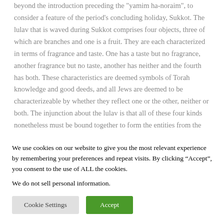beyond the introduction preceding the "yamim ha-noraim", to consider a feature of the period's concluding holiday, Sukkot. The lulav that is waved during Sukkot comprises four objects, three of which are branches and one is a fruit. They are each characterized in terms of fragrance and taste. One has a taste but no fragrance, another fragrance but no taste, another has neither and the fourth has both. These characteristics are deemed symbols of Torah knowledge and good deeds, and all Jews are deemed to be characterizeable by whether they reflect one or the other, neither or both. The injunction about the lulav is that all of these four kinds nonetheless must be bound together to
We use cookies on our website to give you the most relevant experience by remembering your preferences and repeat visits. By clicking “Accept”, you consent to the use of ALL the cookies.
We do not sell personal information.